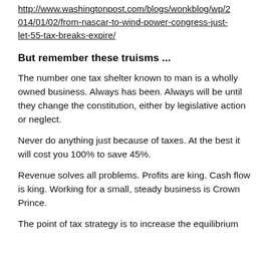http://www.washingtonpost.com/blogs/wonkblog/wp/2014/01/02/from-nascar-to-wind-power-congress-just-let-55-tax-breaks-expire/
But remember these truisms ...
The number one tax shelter known to man is a wholly owned business. Always has been. Always will be until they change the constitution, either by legislative action or neglect.
Never do anything just because of taxes. At the best it will cost you 100% to save 45%.
Revenue solves all problems. Profits are king. Cash flow is king. Working for a small, steady business is Crown Prince.
The point of tax strategy is to increase the equilibrium